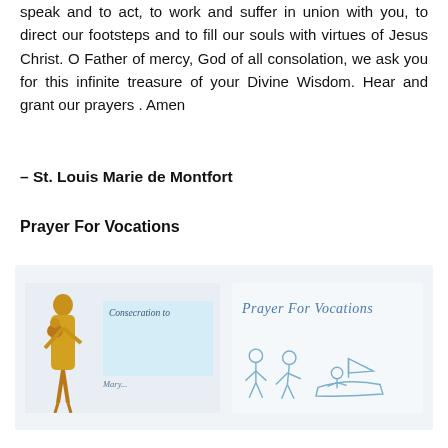speak and to act, to work and suffer in union with you, to direct our footsteps and to fill our souls with virtues of Jesus Christ. O Father of mercy, God of all consolation, we ask you for this infinite treasure of your Divine Wisdom. Hear and grant our prayers . Amen
– St. Louis Marie de Montfort
Prayer For Vocations
[Figure (illustration): Two book cover thumbnails side by side on a light blue background. Left: a golden statue of Mary holding Jesus, with a light blue box reading 'Consecration to...' in cursive. Right: cursive text reading 'Prayer For Vocations' with light blue line drawings of human figures below.]